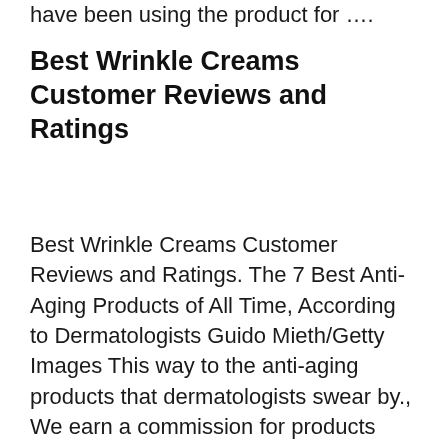have been using the product for ….
Best Wrinkle Creams Customer Reviews and Ratings
Best Wrinkle Creams Customer Reviews and Ratings. The 7 Best Anti-Aging Products of All Time, According to Dermatologists Guido Mieth/Getty Images This way to the anti-aging products that dermatologists swear by., We earn a commission for products purchased through some links in this article. The best anti-wrinkle and dark circle eye creams We tried and tested 21 eye creams to find out which ones really